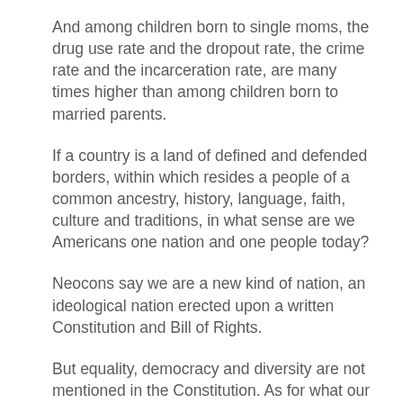And among children born to single moms, the drug use rate and the dropout rate, the crime rate and the incarceration rate, are many times higher than among children born to married parents.
If a country is a land of defined and defended borders, within which resides a people of a common ancestry, history, language, faith, culture and traditions, in what sense are we Americans one nation and one people today?
Neocons say we are a new kind of nation, an ideological nation erected upon a written Constitution and Bill of Rights.
But equality, democracy and diversity are not mentioned in the Constitution. As for what our founding documents mean, even the Supreme Court does not agree.
More and more, 21st-century America seems to meet rather well Metternich's depiction of Italy —